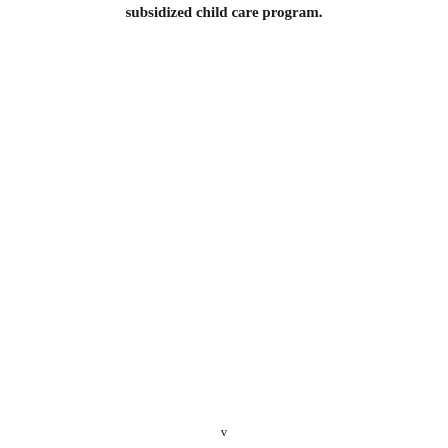subsidized child care program.
v